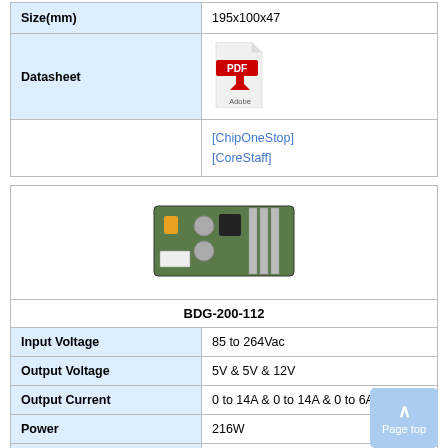|  |  |
| --- | --- |
| Size(mm) | 195x100x47 |
| Datasheet | [PDF icon] |
|  | [ChipOneStop]
[CoreStaff] |
|  |  |
| --- | --- |
| [product image] |  |
| BDG-200-112 |  |
| Input Voltage | 85 to 264Vac |
| Output Voltage | 5V & 5V & 12V |
| Output Current | 0 to 14A & 0 to 14A & 0 to 6A |
| Power | 216W |
| Number of Output | 3ch |
| Package Type | - |
| Withstand voltage | AC3000V |